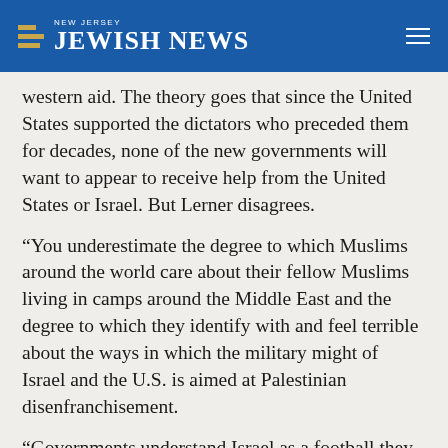NEW JERSEY JEWISH NEWS
western aid. The theory goes that since the United States supported the dictators who preceded them for decades, none of the new governments will want to appear to receive help from the United States or Israel. But Lerner disagrees.
“You underestimate the degree to which Muslims around the world care about their fellow Muslims living in camps around the Middle East and the degree to which they identify with and feel terrible about the ways in which the military might of Israel and the U.S. is aimed at Palestinian disenfranchisement.
“Governments understand Israel as a football they